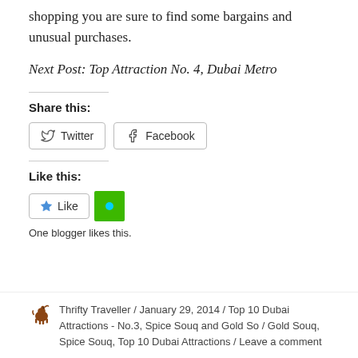shopping you are sure to find some bargains and unusual purchases.
Next Post: Top Attraction No. 4, Dubai Metro
Share this:
Twitter  Facebook
Like this:
Like  [green avatar]  One blogger likes this.
Thrifty Traveller / January 29, 2014 / Top 10 Dubai Attractions - No.3, Spice Souq and Gold So / Gold Souq, Spice Souq, Top 10 Dubai Attractions / Leave a comment